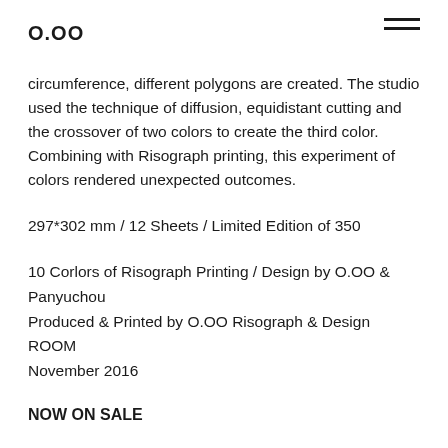O.OO
circumference, different polygons are created. The studio used the technique of diffusion, equidistant cutting and the crossover of two colors to create the third color. Combining with Risograph printing, this experiment of colors rendered unexpected outcomes.
297*302 mm / 12 Sheets / Limited Edition of 350
10 Corlors of Risograph Printing / Design by O.OO & Panyuchou
Produced & Printed by O.OO Risograph & Design ROOM
November 2016
NOW ON SALE